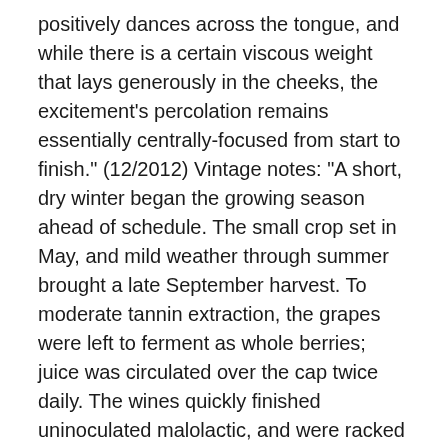positively dances across the tongue, and while there is a certain viscous weight that lays generously in the cheeks, the excitement's percolation remains essentially centrally-focused from start to finish." (12/2012) Vintage notes: "A short, dry winter began the growing season ahead of schedule. The small crop set in May, and mild weather through summer brought a late September harvest. To moderate tannin extraction, the grapes were left to ferment as whole berries; juice was circulated over the cap twice daily. The wines quickly finished uninoculated malolactic, and were racked to air-dried american oak barrels. After blind tasting, we assembled three grenache lots from 1902, 1963, and 1991 plantings, and syrah from a parcel planted in 1999. Extended barrel age softened tannins. Limiting the number of one- and two-year-old barrels kept oak and fruit in balance. Accessible now, this fine wine will develop greater complexity with eight to ten years of bottle age."  14.5% abv